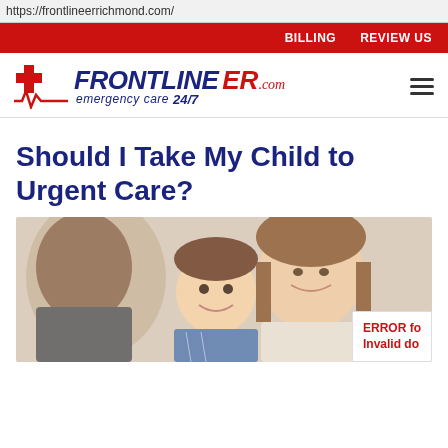https://frontlineerrichmond.com/
[Figure (screenshot): Red navigation bar with BILLING and REVIEW US links in white text]
[Figure (logo): Frontline ER.com emergency care 24/7 logo with red cross and EKG line]
Should I Take My Child to Urgent Care?
[Figure (photo): A smiling mother and young boy, presumably a doctor from behind in foreground, at a medical appointment]
ERROR fo Invalid do